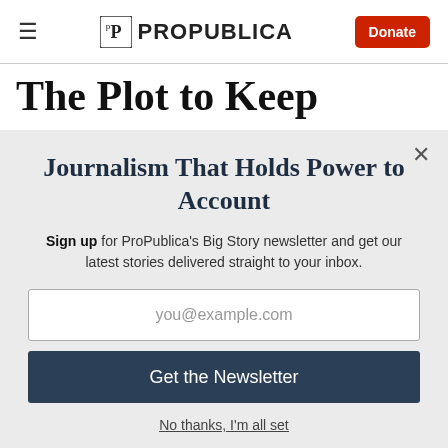≡  ProPublica  Donate
The Plot to Keep
Journalism That Holds Power to Account
Sign up for ProPublica's Big Story newsletter and get our latest stories delivered straight to your inbox.
you@example.com
Get the Newsletter
No thanks, I'm all set
This site is protected by reCAPTCHA and the Google Privacy Policy and Terms of Service apply.